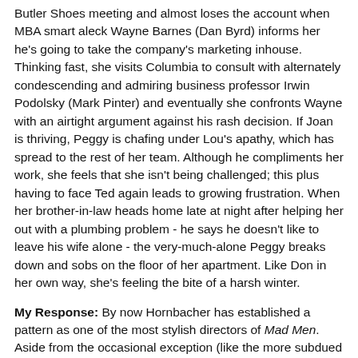Butler Shoes meeting and almost loses the account when MBA smart aleck Wayne Barnes (Dan Byrd) informs her he's going to take the company's marketing inhouse. Thinking fast, she visits Columbia to consult with alternately condescending and admiring business professor Irwin Podolsky (Mark Pinter) and eventually she confronts Wayne with an airtight argument against his rash decision. If Joan is thriving, Peggy is chafing under Lou's apathy, which has spread to the rest of her team. Although he compliments her work, she feels that she isn't being challenged; this plus having to face Ted again leads to growing frustration. When her brother-in-law heads home late at night after helping her out with a plumbing problem - he says he doesn't like to leave his wife alone - the very-much-alone Peggy breaks down and sobs on the floor of her apartment. Like Don in her own way, she's feeling the bite of a harsh winter.
My Response: By now Hornbacher has established a pattern as one of the most stylish directors of Mad Men. Aside from the occasional exception (like the more subdued "Dark Shadows" in season 5), his work often exhibits flourishes that push the show's aesthetic beyond its usual conventions